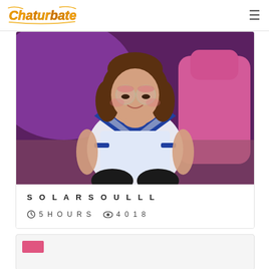Chaturbate [logo] [hamburger menu]
[Figure (photo): Young woman wearing round glasses and a blue and white sailor-style costume, sitting in a room with pink lighting and a pink gaming chair. Webcam stream screenshot.]
SOLARSOULLL
5 HOURS   4018
[Figure (screenshot): Partial preview of a second stream card at the bottom of the page, showing a pink/red bar element on a light background.]